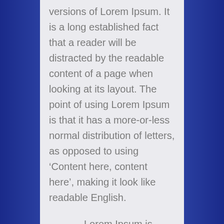versions of Lorem Ipsum. It is a long established fact that a reader will be distracted by the readable content of a page when looking at its layout. The point of using Lorem Ipsum is that it has a more-or-less normal distribution of letters, as opposed to using ‘Content here, content here’, making it look like readable English.
Lorem Ipsum is simply dummy text of the printing and typesetting industry. Lorem Ipsum has been the industry’s standard dummy text.
Mark Johnson
All the Lorem Ipsum generators on the